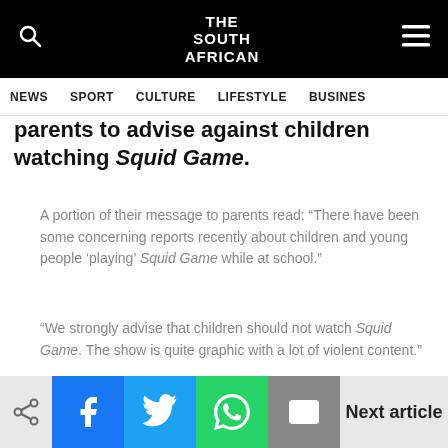THE SOUTH AFRICAN — NEWS | SPORT | CULTURE | LIFESTYLE | BUSINESS
parents to advise against children watching Squid Game.
A portion of their message to parents read: “There have been some concerning reports recently about children and young people ‘playing’ Squid Game while at school.”
“We strongly advise that children should not watch Squid Game. The show is quite graphic with a lot of violent content.”
Next article